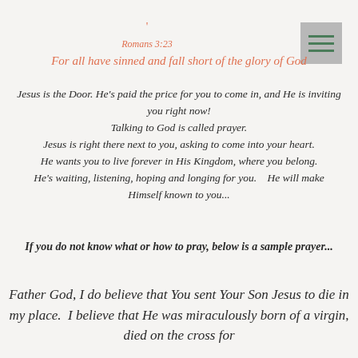,
Romans 3:23
For all have sinned and fall short of the glory of God
Jesus is the Door. He's paid the price for you to come in, and He is inviting you right now!
Talking to God is called prayer.
Jesus is right there next to you, asking to come into your heart.
He wants you to live forever in His Kingdom, where you belong.
He's waiting, listening, hoping and longing for you.   He will make Himself known to you...
If you do not know what or how to pray, below is a sample prayer...
Father God, I do believe that You sent Your Son Jesus to die in my place.  I believe that He was miraculously born of a virgin, died on the cross for